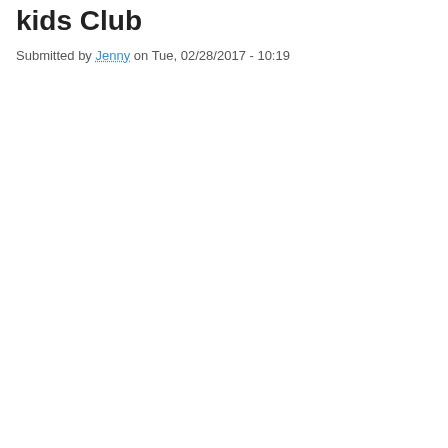kids Club
Submitted by Jenny on Tue, 02/28/2017 - 10:19